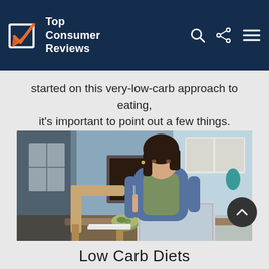Top Consumer Reviews
started on this very-low-carb approach to eating, it's important to point out a few things.
[Figure (photo): Woman sitting at a table eating from a bowl while looking at a laptop computer, in a home interior setting]
Low Carb Diets